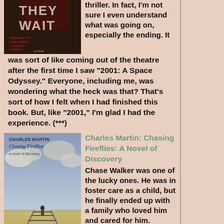[Figure (photo): Book cover of 'They Wait' — dark thriller novel cover with red text on dark background]
thriller. In fact, I'm not sure I even understand what was going on, especially the ending. It was sort of like coming out of the theatre after the first time I saw "2001: A Space Odyssey." Everyone, including me, was wondering what the heck was that? That's sort of how I felt when I had finished this book. But, like "2001," I'm glad I had the experience. (***)
[Figure (photo): Book cover of 'Chasing Fireflies: A Novel of Discovery' by Charles Martin — shows a figure walking on railroad tracks into a distance under cloudy sky]
Charles Martin: Chasing Fireflies: A Novel of Discovery
Chase Walker was one of the lucky ones. He was in foster care as a child, but he finally ended up with a family who loved him and cared for him. Now, as a journalist for the local paper, he's moved on and put the past behind him. But when he's assigned